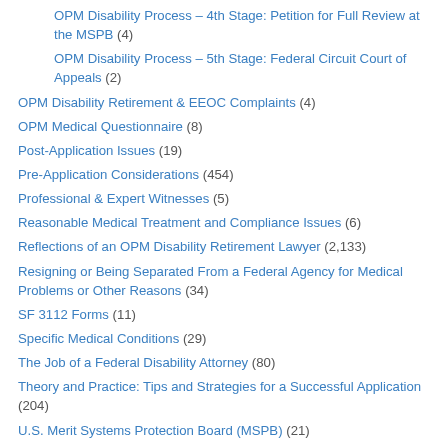OPM Disability Process – 4th Stage: Petition for Full Review at the MSPB (4)
OPM Disability Process – 5th Stage: Federal Circuit Court of Appeals (2)
OPM Disability Retirement & EEOC Complaints (4)
OPM Medical Questionnaire (8)
Post-Application Issues (19)
Pre-Application Considerations (454)
Professional & Expert Witnesses (5)
Reasonable Medical Treatment and Compliance Issues (6)
Reflections of an OPM Disability Retirement Lawyer (2,133)
Resigning or Being Separated From a Federal Agency for Medical Problems or Other Reasons (34)
SF 3112 Forms (11)
Specific Medical Conditions (29)
The Job of a Federal Disability Attorney (80)
Theory and Practice: Tips and Strategies for a Successful Application (204)
U.S. Merit Systems Protection Board (MSPB) (21)
U.S. Office of Personnel Management (OPM) (81)